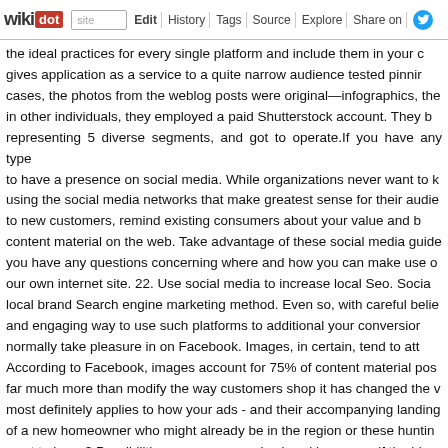wikidot | site | Edit | History | Tags | Source | Explore | Share on Twitter
the ideal practices for every single platform and include them in your c... gives application as a service to a quite narrow audience tested pinni... cases, the photos from the weblog posts were original—infographics, the... in other individuals, they employed a paid Shutterstock account. They b... representing 5 diverse segments, and got to operate.If you have any type... to have a presence on social media. While organizations never want to k... using the social media networks that make greatest sense for their audie... to new customers, remind existing consumers about your value and b... content material on the web. Take advantage of these social media guide... you have any questions concerning where and how you can make use o... our own internet site. 22. Use social media to increase local Seo. Socia... local brand Search engine marketing method. Even so, with careful belie... and engaging way to use such platforms to additional your conversion... normally take pleasure in on Facebook. Images, in certain, tend to att... According to Facebook, images account for 75% of content material pos... far much more than modify the way customers shop it has changed the v... most definitely applies to how your ads - and their accompanying landing... of a new homeowner who might already be in the region or these huntin... want to know? Possibilities are someone else is asking yourself the id... assist familiarize your readers with your expertise and your real esta... marketing and advertising and hoping for instant success, be patien... proficiency in a new ability set. Social Media Advertising is not a tool tha... be taken in actions to keep away from any potential mistakes and to m... Applying for a job is basically advertising oneself, right? So you are going... a distinctive, thoughtful resume. Show your design and style expertise w... links to your personal and expert social media pages. Showcase your kno... promote it. 21. Never get also hung up on the Search engine optimiza... perks aside from Search engine optimisation value. No matter whether o... direct...